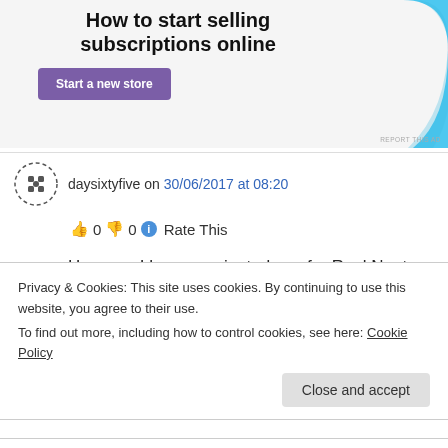[Figure (screenshot): Advertisement banner: 'How to start selling subscriptions online' with purple 'Start a new store' button and cyan graphic shape on right]
daysixtyfive on 30/06/2017 at 08:20
👍 0 👎 0 ℹ Rate This
Hey you, I have nominated you for Real Neat Blog Award. See here:
https://daysixtyfive.com/2017/06/30/real-neat-
Privacy & Cookies: This site uses cookies. By continuing to use this website, you agree to their use.
To find out more, including how to control cookies, see here: Cookie Policy
Close and accept